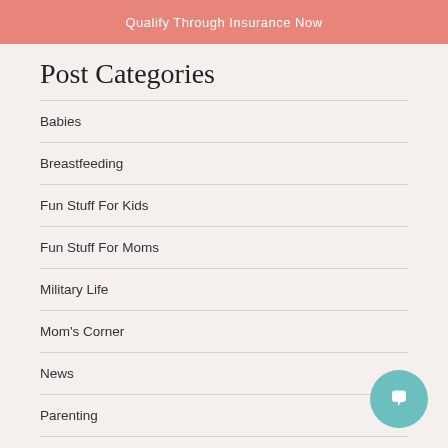Qualify Through Insurance Now
Post Categories
Babies
Breastfeeding
Fun Stuff For Kids
Fun Stuff For Moms
Military Life
Mom's Corner
News
Parenting
P…